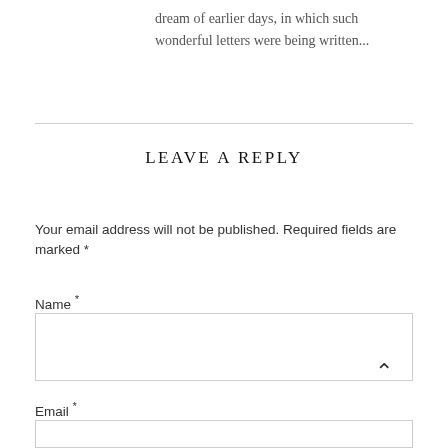dream of earlier days, in which such wonderful letters were being written...
LEAVE A REPLY
Your email address will not be published. Required fields are marked *
Name *
Email *